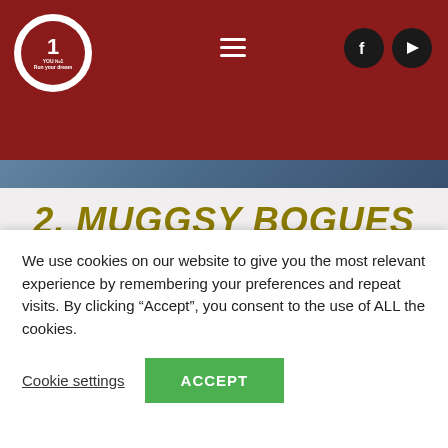YouNumber1 website header with logo, hamburger menu, and social icons (Facebook, YouTube)
[Figure (photo): Partial photo of a basketball player, cropped at top]
2. MUGGSY BOGUES
He is 158 cm tall and became the World Champion in basketball! Most people with such height (or even much taller) wouldn't dare to dream about playing in NBA. Luckily, Muggsy
We use cookies on our website to give you the most relevant experience by remembering your preferences and repeat visits. By clicking “Accept”, you consent to the use of ALL the cookies.
Cookie settings | ACCEPT